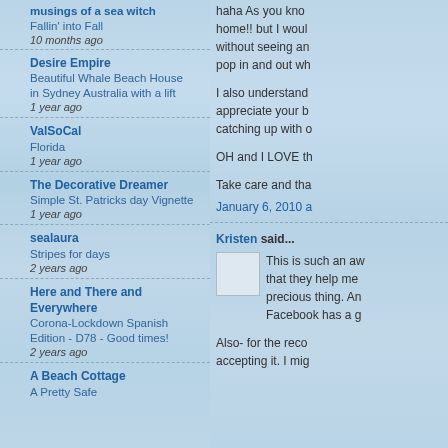musings of a sea witch
Fallin' into Fall
10 months ago
Desire Empire
Beautiful Whale Beach House in Sydney Australia with a lift
1 year ago
ValSoCal
Florida
1 year ago
The Decorative Dreamer
Simple St. Patricks day Vignette
1 year ago
sealaura
Stripes for days
2 years ago
Here and There and Everywhere
Corona-Lockdown Spanish Edition - D78 - Good times!
2 years ago
A Beach Cottage
A Pretty Safe
haha As you know home!! but I would without seeing an pop in and out wh
I also understand appreciate your b catching up with o
OH and I LOVE th
Take care and tha
January 6, 2010 a
Kristen said...
This is such an aw that they help me precious thing. An Facebook has a g
Also- for the recor accepting it. I migh